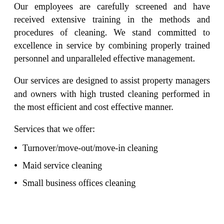Our employees are carefully screened and have received extensive training in the methods and procedures of cleaning. We stand committed to excellence in service by combining properly trained personnel and unparalleled effective management.
Our services are designed to assist property managers and owners with high trusted cleaning performed in the most efficient and cost effective manner.
Services that we offer:
Turnover/move-out/move-in cleaning
Maid service cleaning
Small business offices cleaning